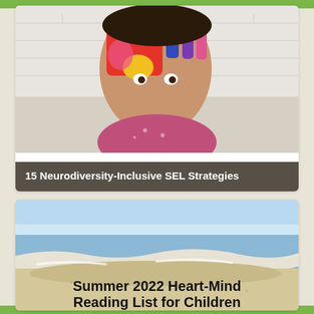[Figure (photo): A young girl with dark hair holds up a hand painted with colorful paint (red, blue, pink, yellow) in front of her face like a frame, looking through it. White brick wall background, wearing a pink polka-dot top.]
15 Neurodiversity-Inclusive SEL Strategies
[Figure (photo): Ocean beach scene with sandy shoreline and gentle waves washing up, bright sunny sky visible at top.]
Summer 2022 Heart-Mind Reading List for Children